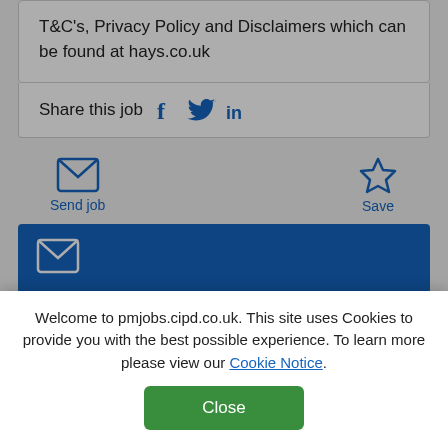T&C's, Privacy Policy and Disclaimers which can be found at hays.co.uk
Share this job
Send job
Save
[Figure (screenshot): Blue banner section with envelope icon for creating job alerts and personalised job recommendations straight to your inbox, with a Create alert button]
Welcome to pmjobs.cipd.co.uk. This site uses Cookies to provide you with the best possible experience. To learn more please view our Cookie Notice.
Close